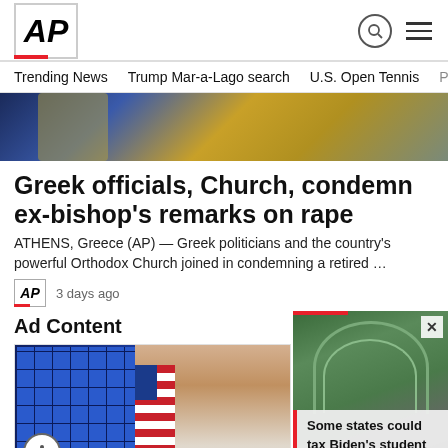AP
Trending News   Trump Mar-a-Lago search   U.S. Open Tennis
[Figure (photo): Close-up of ceremonial religious garments with blue and gold embroidery]
Greek officials, Church, condemn ex-bishop's remarks on rape
ATHENS, Greece (AP) — Greek politicians and the country's powerful Orthodox Church joined in condemning a retired …
AP  3 days ago
Ad Content
[Figure (photo): Ad content showing solar panels on the left and a blonde woman in front of an American flag on the right]
[Figure (photo): Overlay video thumbnail showing an ornate green archway/gate with people walking through, with text 'Some states could tax Biden's student loan debt relief']
Some states could tax Biden's student loan debt relief